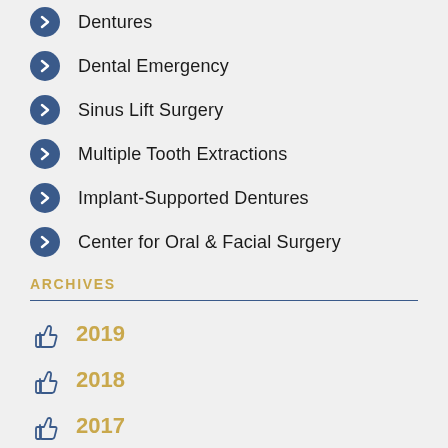Dentures
Dental Emergency
Sinus Lift Surgery
Multiple Tooth Extractions
Implant-Supported Dentures
Center for Oral & Facial Surgery
ARCHIVES
2019
2018
2017